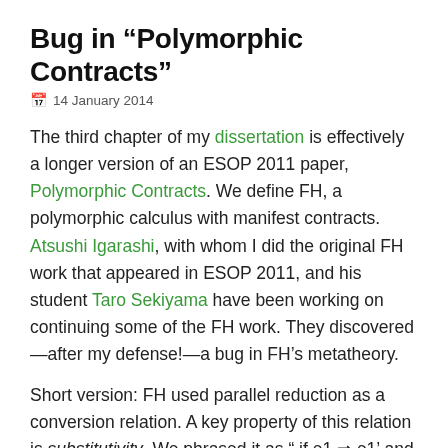Bug in “Polymorphic Contracts”
14 January 2014
The third chapter of my dissertation is effectively a longer version of an ESOP 2011 paper, Polymorphic Contracts. We define FH, a polymorphic calculus with manifest contracts. Atsushi Igarashi, with whom I did the original FH work that appeared in ESOP 2011, and his student Taro Sekiyama have been working on continuing some of the FH work. They discovered—after my defense!—a bug in FH’s metatheory.
Short version: FH used parallel reduction as a conversion relation. A key property of this relation is substitutivity. We phrased it as “ if e1 ⇒ e1’ and e2 ⇒ e2’ then e1{e2/x} ⇒ e1’{e2’/x}”. Unfortunately, this doesn’t hold for FH, due to subtleties in FH’s reduction rules for